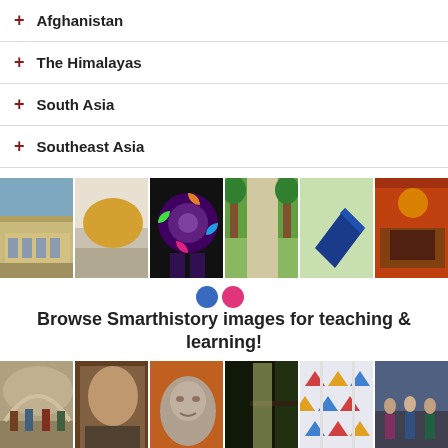+ Afghanistan
+ The Himalayas
+ South Asia
+ Southeast Asia
[Figure (photo): Strip of 6 art/architecture photos: Paris Opera House, landscape painting, rose window stained glass, park pathway, blue angular sculpture, interior with table]
Browse Smarthistory images for teaching & learning!
[Figure (photo): Strip of 6 art photos: School of Athens fresco, baroque painting, stone sculpture head, Japanese garden doorway, colorful textile/blanket, mural with figures]
HAVE YOU SEEN OUR free world art history textbook?